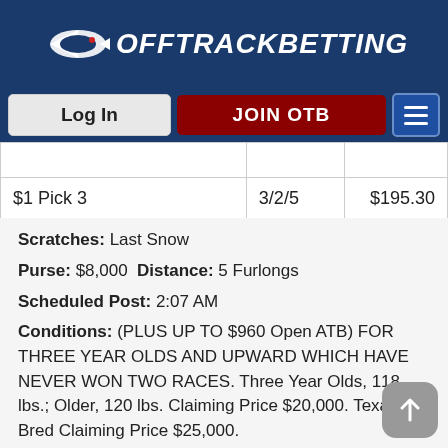[Figure (logo): OffTrackBetting logo with rocket/horse icon and white text on dark blue background]
[Figure (screenshot): Navigation bar with Log In button, JOIN OTB button in dark red, and hamburger menu button]
|  |  |  |
| $1 Pick 3 | 3/2/5 | $195.30 |
Scratches: Last Snow
Purse: $8,000 Distance: 5 Furlongs
Scheduled Post: 2:07 AM
Conditions: (PLUS UP TO $960 Open ATB) FOR THREE YEAR OLDS AND UPWARD WHICH HAVE NEVER WON TWO RACES. Three Year Olds, 118 lbs.; Older, 120 lbs. Claiming Price $20,000. Texas Bred Claiming Price $25,000.
Also Ran: Mr. Jazz Singer, Mischievous Bull, Whiskey Neat, Dudley Run Right, Thrift Shop, Eaton's Tom, W Avenger, Neko Nation